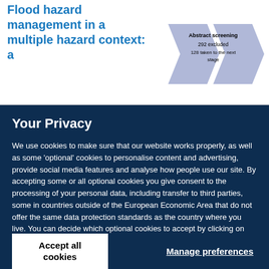Flood hazard management in a multiple hazard context: a
[Figure (flowchart): Flowchart showing abstract screening step: 292 excluded, 128 taken to the next stage]
Your Privacy
We use cookies to make sure that our website works properly, as well as some 'optional' cookies to personalise content and advertising, provide social media features and analyse how people use our site. By accepting some or all optional cookies you give consent to the processing of your personal data, including transfer to third parties, some in countries outside of the European Economic Area that do not offer the same data protection standards as the country where you live. You can decide which optional cookies to accept by clicking on 'Manage Settings', where you can also find more information about how your personal data is processed. Further information can be found in our privacy policy.
Accept all cookies
Manage preferences